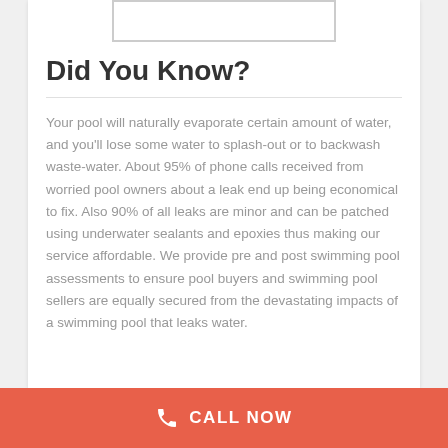[Figure (other): Partial image placeholder at top of white card, showing a white rectangle with a thin border]
Did You Know?
Your pool will naturally evaporate certain amount of water, and you'll lose some water to splash-out or to backwash waste-water. About 95% of phone calls received from worried pool owners about a leak end up being economical to fix. Also 90% of all leaks are minor and can be patched using underwater sealants and epoxies thus making our service affordable. We provide pre and post swimming pool assessments to ensure pool buyers and swimming pool sellers are equally secured from the devastating impacts of a swimming pool that leaks water.
CALL NOW